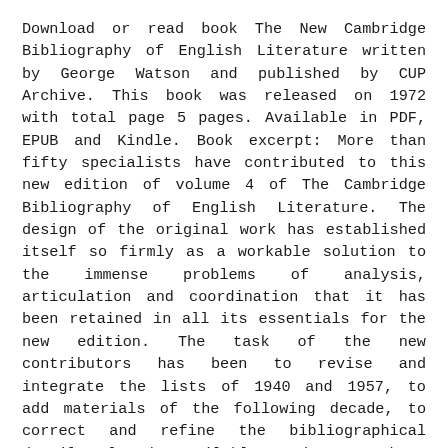Download or read book The New Cambridge Bibliography of English Literature written by George Watson and published by CUP Archive. This book was released on 1972 with total page 5 pages. Available in PDF, EPUB and Kindle. Book excerpt: More than fifty specialists have contributed to this new edition of volume 4 of The Cambridge Bibliography of English Literature. The design of the original work has established itself so firmly as a workable solution to the immense problems of analysis, articulation and coordination that it has been retained in all its essentials for the new edition. The task of the new contributors has been to revise and integrate the lists of 1940 and 1957, to add materials of the following decade, to correct and refine the bibliographical details already available, and to re-shape the whole according to a new series of conventions devised to give greater clarity and consistency to the entries.